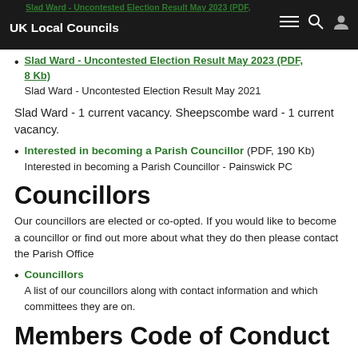UK Local Councils
Slad Ward - Uncontested Election Result May 2023 (PDF, 8 Kb)
Slad Ward - Uncontested Election Result May 2021
Slad Ward - 1 current vacancy. Sheepscombe ward - 1 current vacancy.
Interested in becoming a Parish Councillor (PDF, 190 Kb)
Interested in becoming a Parish Councillor - Painswick PC
Councillors
Our councillors are elected or co-opted. If you would like to become a councillor or find out more about what they do then please contact the Parish Office
Councillors
A list of our councillors along with contact information and which committees they are on.
Members Code of Conduct